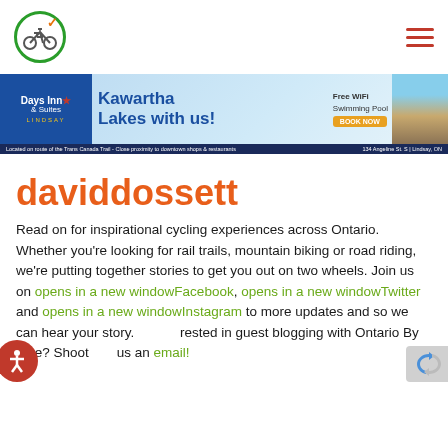[Figure (logo): Ontario By Bike logo: bicycle inside a green circle with an orange checkmark]
[Figure (illustration): Hamburger menu icon with three horizontal red lines]
[Figure (photo): Days Inn & Suites Lindsay advertisement banner. Text: Days Inn & Suites Lindsay, Kawartha Lakes with us!, Free WiFi Swimming Pool, Book Now. Located on route of the Trans Canada Trail - Close proximity to downtown shops & restaurants. 134 Angeline St. S | Lindsay, ON]
daviddossett
Read on for inspirational cycling experiences across Ontario. Whether you're looking for rail trails, mountain biking or road riding, we're putting together stories to get you out on two wheels. Join us on opens in a new windowFacebook, opens in a new windowTwitter and opens in a new windowInstagram to more updates and so we can hear your story. rested in guest blogging with Ontario By Bike? Shoot us an email!